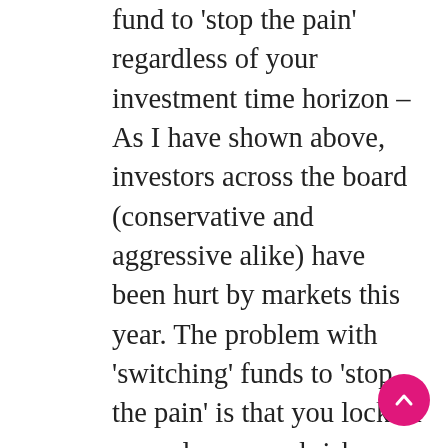fund to 'stop the pain' regardless of your investment time horizon – As I have shown above, investors across the board (conservative and aggressive alike) have been hurt by markets this year. The problem with 'switching' funds to 'stop the pain' is that you lock-in paper losses, and risk missing out on any 'bounce back'. How easy it is to 'miss out' on a bounce back is best shown by the below chart from Consilium – Share market gains are not evenly spread throughout the year; they can be concentrated into only one or two months. In fact, on average the best month of the year each year accounts for almost the entire